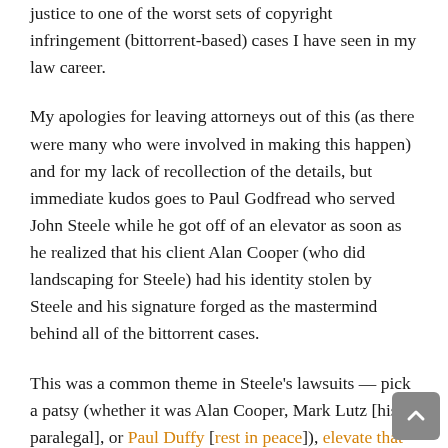justice to one of the worst sets of copyright infringement (bittorrent-based) cases I have seen in my law career.
My apologies for leaving attorneys out of this (as there were many who were involved in making this happen) and for my lack of recollection of the details, but immediate kudos goes to Paul Godfread who served John Steele while he got off of an elevator as soon as he realized that his client Alan Cooper (who did landscaping for Steele) had his identity stolen by Steele and his signature forged as the mastermind behind all of the bittorrent cases.
This was a common theme in Steele's lawsuits — pick a patsy (whether it was Alan Cooper, Mark Lutz [his paralegal], or Paul Duffy [rest in peace]), elevate that patsy to be the "mastermind" behind all of the lawsuits, hire local counsel across the U.S. to file lawsuits, and